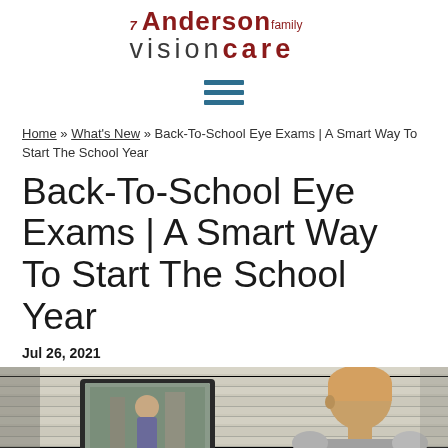Anderson Family Vision Care
[Figure (other): Hamburger/menu icon with three horizontal lines in teal/blue color]
Home » What's New » Back-To-School Eye Exams | A Smart Way To Start The School Year
Back-To-School Eye Exams | A Smart Way To Start The School Year
Jul 26, 2021
[Figure (photo): Photo of a child (seen from behind) looking at a laptop screen showing a woman on a video call, in front of window blinds]